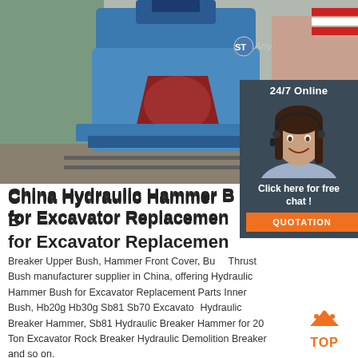[Figure (photo): Blue hydraulic hammer breaker machine with red interior cavity, shown on a factory floor. Anyang ST brand logo visible in the upper portion of the image.]
[Figure (photo): 24/7 Online chat widget showing a smiling female customer service agent wearing a headset, with dark background, 'Click here for free chat!' text and an orange QUOTATION button.]
China Hydraulic Hammer Bush for Excavator Replacement
Breaker Upper Bush, Hammer Front Cover, Bush Thrust Bush manufacturer supplier in China, offering Hydraulic Hammer Bush for Excavator Replacement Parts Inner Bush, Hb20g Hb30g Sb81 Sb70 Excavator Hydraulic Breaker Hammer, Sb81 Hydraulic Breaker Hammer for 20 Ton Excavator Rock Breaker Hydraulic Demolition Breaker and so on.
[Figure (logo): Orange TOP back-to-top widget with upward-pointing triangle/dot design above the word TOP in orange.]